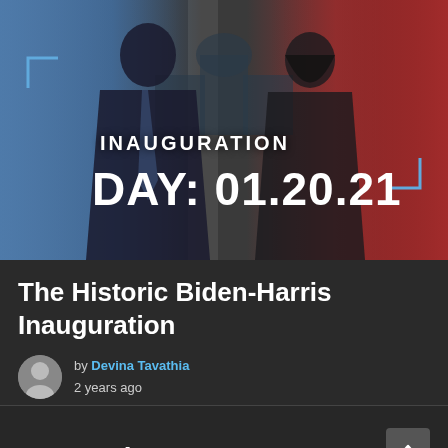[Figure (photo): Hero image showing two people in dark suits standing against a patriotic red, white, and blue background with US Capitol building. Bold white text reads 'INAUGURATION DAY: 01.20.21' with blue bracket corner decorations.]
The Historic Biden-Harris Inauguration
by Devina Tavathia
2 years ago
Categories
Breaking News